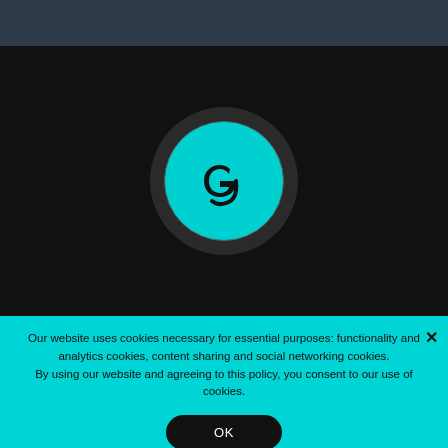[Figure (logo): Circular logo with a cyan/teal background and a stylized lowercase 'g' in dark color, set within a dark circular outer ring]
Our website uses cookies necessary for essential purposes: functionality and analytics cookies, content sharing and social networking cookies.
By using our website and agreeing to this policy, you consent to our use of cookies.
OK